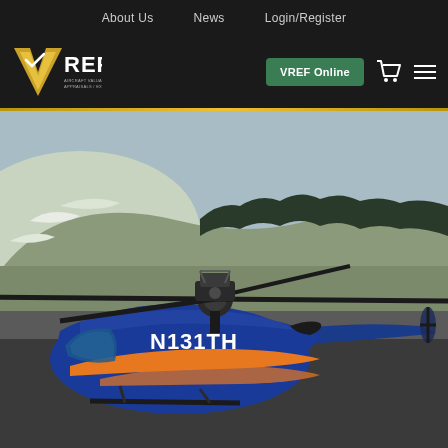About Us   News   Login/Register
[Figure (logo): VREF logo with gold V checkmark and text VREF in white, tagline below]
VREF Online
[Figure (photo): Blue helicopter with registration N131TH on a runway with rolling hills and sparse trees in background. Helicopter is blue with orange accent stripes and visible rotor assembly on top.]